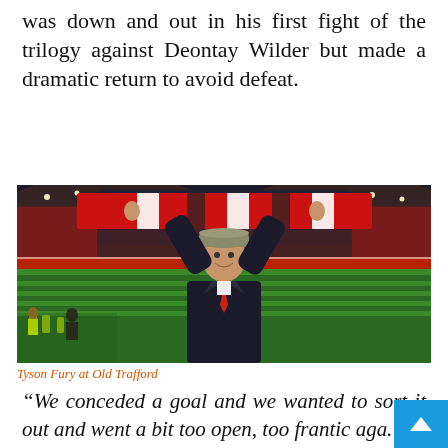was down and out in his first fight of the trilogy against Deontay Wilder but made a dramatic return to avoid defeat.
[Figure (photo): Tyson Fury at Old Trafford stadium, holding a red Manchester United scarf above his head with both arms raised, wearing a flat cap, dark coat and red tie, with the lit stadium crowd visible in the background.]
Tyson Fury at Old Trafford
“We conceded a goal and we wanted to sort it out and went a bit too open, too frantic aga…